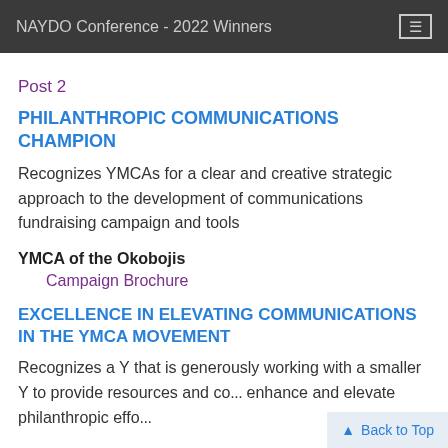NAYDO Conference - 2022 Winners
Post 2
PHILANTHROPIC COMMUNICATIONS CHAMPION
Recognizes YMCAs for a clear and creative strategic approach to the development of communications fundraising campaign and tools
YMCA of the Okobojis
Campaign Brochure
EXCELLENCE IN ELEVATING COMMUNICATIONS IN THE YMCA MOVEMENT
Recognizes a Y that is generously working with a smaller Y to provide resources and co... enhance and elevate philanthropic effo...